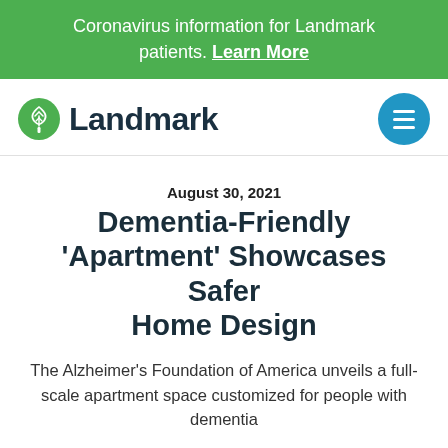Coronavirus information for Landmark patients. Learn More
[Figure (logo): Landmark Health logo with green tree icon and 'Landmark' wordmark, plus circular blue hamburger menu button]
August 30, 2021
Dementia-Friendly 'Apartment' Showcases Safer Home Design
The Alzheimer's Foundation of America unveils a full-scale apartment space customized for people with dementia